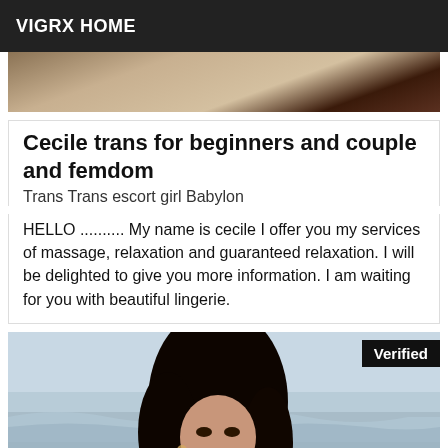VIGRX HOME
[Figure (photo): Partial photo visible at top of card, showing floor tiles and dark background]
Cecile trans for beginners and couple and femdom
Trans Trans escort girl Babylon
HELLO .......... My name is cecile I offer you my services of massage, relaxation and guaranteed relaxation. I will be delighted to give you more information. I am waiting for you with beautiful lingerie.
[Figure (photo): Photo of a dark-haired woman at a beach/ocean, with a 'Verified' badge overlay in top right corner]